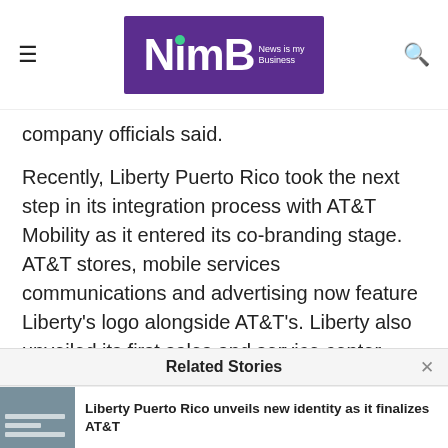NimB – News is my Business
company officials said.
Recently, Liberty Puerto Rico took the next step in its integration process with AT&T Mobility as it entered its co-branding stage. AT&T stores, mobile services communications and advertising now feature Liberty's logo alongside AT&T's. Liberty also unveiled its first sales and service center offering its mobile, video, broadband internet, and digital telephony services under one roof.
Related Stories
Liberty Puerto Rico unveils new identity as it finalizes AT&T